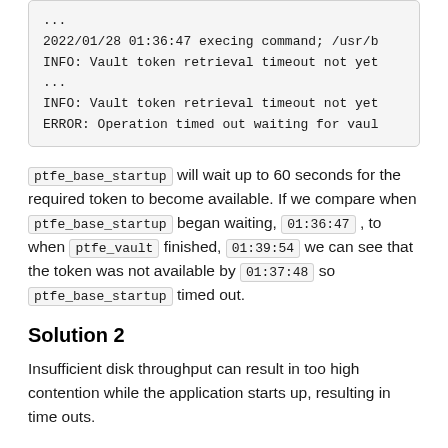[Figure (other): Code/log block showing execution output with timestamps and errors]
ptfe_base_startup will wait up to 60 seconds for the required token to become available. If we compare when ptfe_base_startup began waiting, 01:36:47 , to when ptfe_vault finished, 01:39:54 we can see that the token was not available by 01:37:48 so ptfe_base_startup timed out.
Solution 2
Insufficient disk throughput can result in too high contention while the application starts up, resulting in time outs.